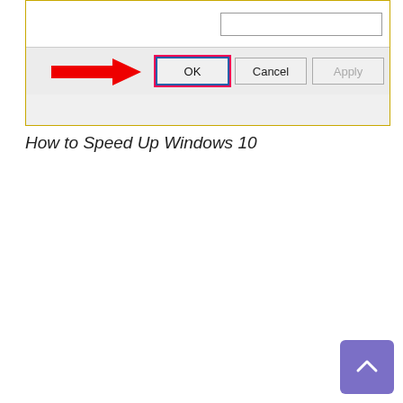[Figure (screenshot): A Windows dialog screenshot showing OK, Cancel, and Apply buttons, with a red arrow pointing to the OK button which is highlighted with a red/blue border.]
How to Speed Up Windows 10